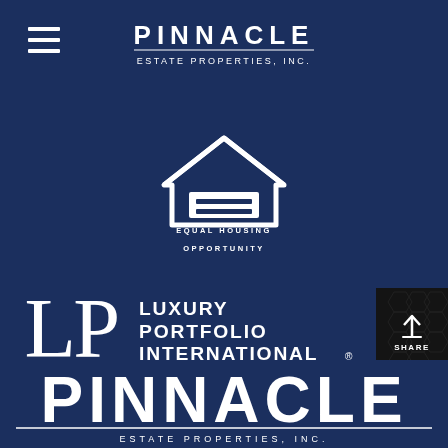[Figure (logo): Hamburger menu icon (three horizontal white lines) in top left corner]
[Figure (logo): Pinnacle Estate Properties, Inc. logo in white text at top center on dark navy background]
[Figure (logo): Equal Housing Opportunity logo: white house outline with equal sign, with text EQUAL HOUSING OPPORTUNITY below]
[Figure (logo): Luxury Portfolio International logo: LP letters with full text LUXURY PORTFOLIO INTERNATIONAL in white on navy background]
[Figure (logo): Share button: dark square with upload/share icon and SHARE text]
[Figure (logo): Pinnacle Estate Properties Inc. large bottom logo in white on navy, partially cut off]